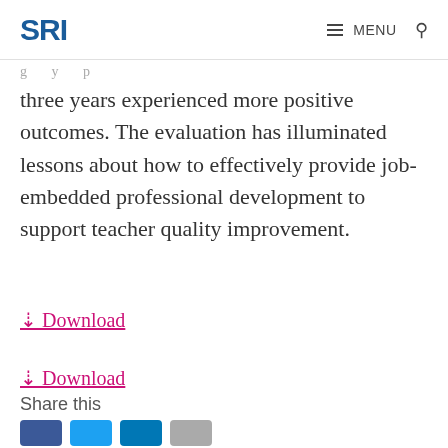SRI   MENU
three years experienced more positive outcomes. The evaluation has illuminated lessons about how to effectively provide job-embedded professional development to support teacher quality improvement.
↓ Download
↓ Download
Share this